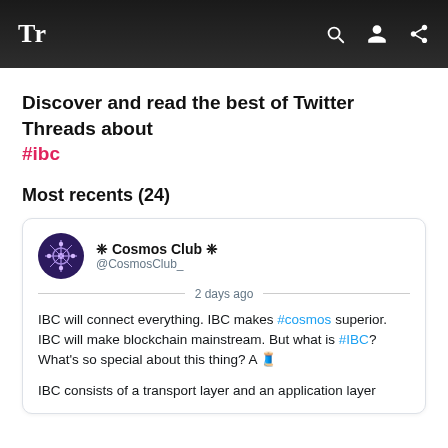Tr
Discover and read the best of Twitter Threads about #ibc
Most recents (24)
❈ Cosmos Club ❈ @CosmosClub_ 2 days ago IBC will connect everything. IBC makes #cosmos superior. IBC will make blockchain mainstream. But what is #IBC? What's so special about this thing? A 🧵 IBC consists of a transport layer and an application layer